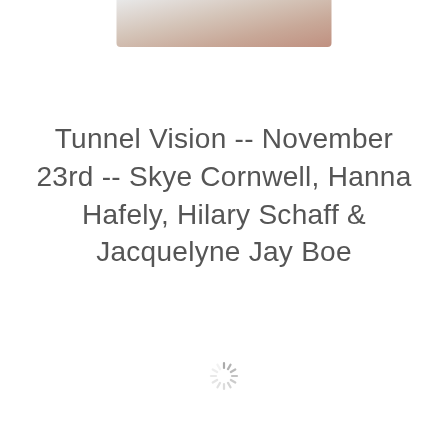[Figure (photo): Partial photo at top center, cropped — showing a light/skin-toned subject against a light background]
Tunnel Vision -- November 23rd -- Skye Cornwell, Hanna Hafely, Hilary Schaff & Jacquelyne Jay Boe
[Figure (other): Loading spinner icon]